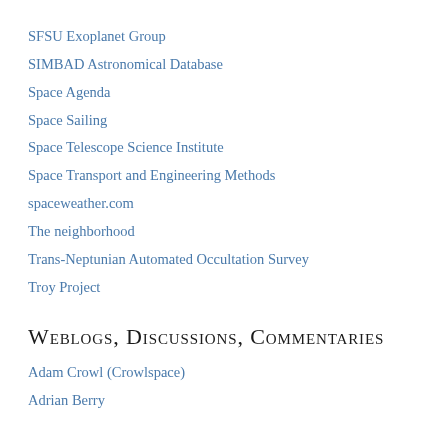SFSU Exoplanet Group
SIMBAD Astronomical Database
Space Agenda
Space Sailing
Space Telescope Science Institute
Space Transport and Engineering Methods
spaceweather.com
The neighborhood
Trans-Neptunian Automated Occultation Survey
Troy Project
Weblogs, Discussions, Commentaries
Adam Crowl (Crowlspace)
Adrian Berry